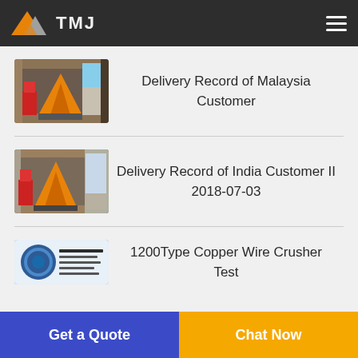TMJ
[Figure (photo): Orange machinery loaded inside a shipping container, delivery photo]
Delivery Record of Malaysia Customer
[Figure (photo): Orange machinery loaded inside a shipping container, delivery photo for India]
Delivery Record of India Customer II 2018-07-03
[Figure (photo): 1200Type Copper Wire Crusher test photo with company signage]
1200Type Copper Wire Crusher Test
Get a Quote
Chat Now